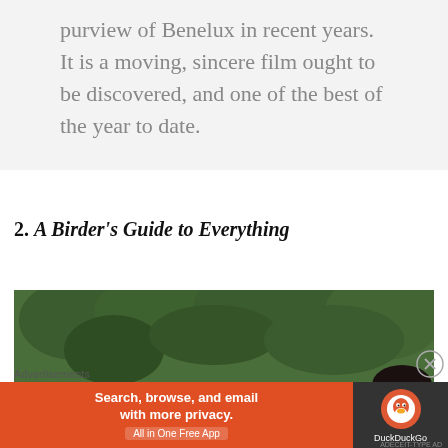purview of Benelux in recent years. It is a moving, sincere film ought to be discovered, and one of the best of the year to date.
2. A Birder's Guide to Everything
[Figure (photo): Four young people looking upward against a green leafy background, from the film A Birder's Guide to Everything]
Advertisements
[Figure (other): DuckDuckGo advertisement banner: Search, browse, and email with more privacy. All in One Free App. DuckDuckGo logo on dark background.]